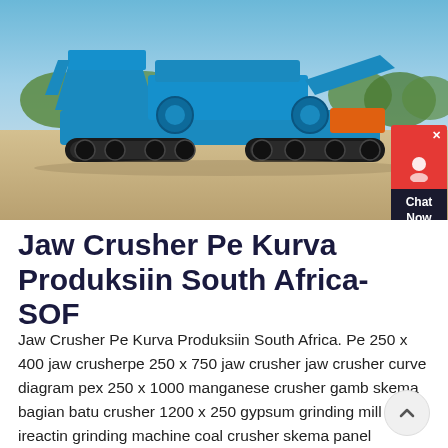[Figure (photo): A large blue mobile jaw crusher machine parked on a gravel/dirt area outdoors with green trees and blue sky in the background. The machine is on tracked wheels and painted bright blue. A small red/black chat widget is visible in the lower right corner of the image.]
Jaw Crusher Pe Kurva Produksiin South Africa- SOF
Jaw Crusher Pe Kurva Produksiin South Africa. Pe 250 x 400 jaw crusherpe 250 x 750 jaw crusher jaw crusher curve diagram pex 250 x 1000 manganese crusher gamb skema bagian batu crusher 1200 x 250 gypsum grinding mill rollers ireactin grinding machine coal crusher skema panel